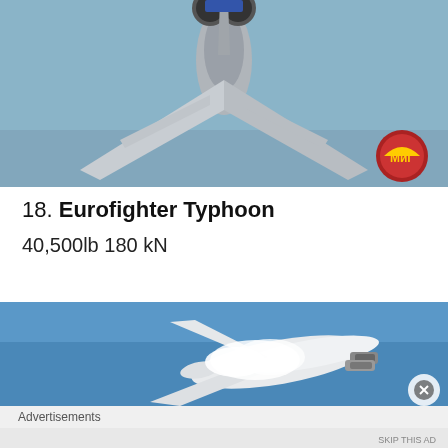[Figure (photo): Aerial photograph of a military fighter jet viewed from below/behind against a grey-blue sky and land background, with MiG logo in bottom right corner]
18. Eurofighter Typhoon
40,500lb 180 kN
[Figure (photo): 3D render or photo of a white aircraft performing a high-speed maneuver against a blue sky, with vapor effects and twin engines visible]
Advertisements